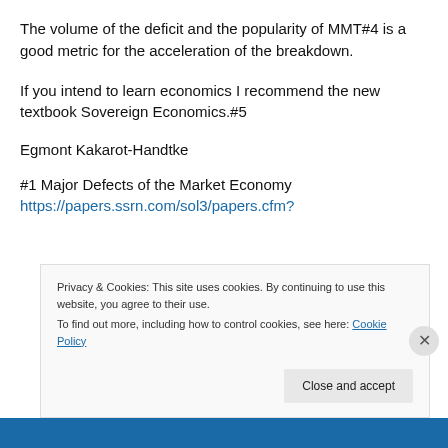The volume of the deficit and the popularity of MMT#4 is a good metric for the acceleration of the breakdown.
If you intend to learn economics I recommend the new textbook Sovereign Economics.#5
Egmont Kakarot-Handtke
#1 Major Defects of the Market Economy
https://papers.ssrn.com/sol3/papers.cfm?
Privacy & Cookies: This site uses cookies. By continuing to use this website, you agree to their use.
To find out more, including how to control cookies, see here: Cookie Policy